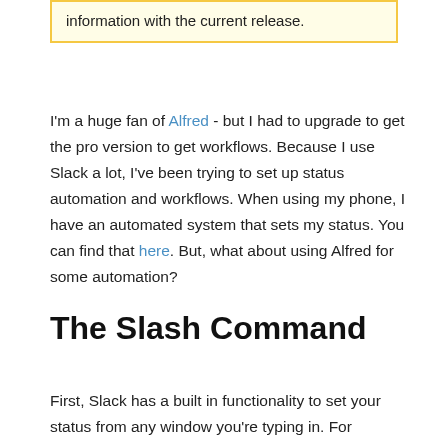information with the current release.
I'm a huge fan of Alfred - but I had to upgrade to get the pro version to get workflows. Because I use Slack a lot, I've been trying to set up status automation and workflows. When using my phone, I have an automated system that sets my status. You can find that here. But, what about using Alfred for some automation?
The Slash Command
First, Slack has a built in functionality to set your status from any window you're typing in. For